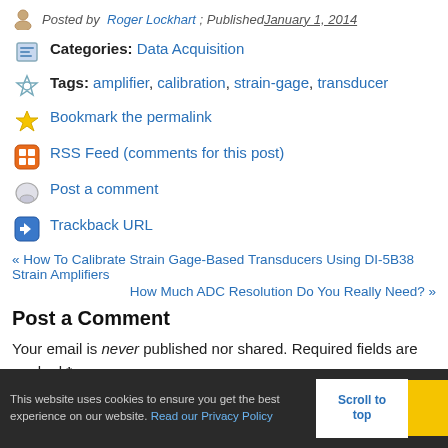Posted by Roger Lockhart ; Published January 1, 2014
Categories: Data Acquisition
Tags: amplifier, calibration, strain-gage, transducer
Bookmark the permalink
RSS Feed (comments for this post)
Post a comment
Trackback URL
« How To Calibrate Strain Gage-Based Transducers Using DI-5B38 Strain Amplifiers
How Much ADC Resolution Do You Really Need? »
Post a Comment
Your email is never published nor shared. Required fields are marked *
This website uses cookies to ensure you get the best experience on our website. Read our Privacy Policy